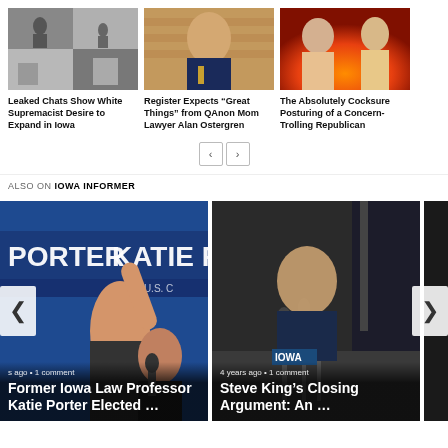[Figure (photo): Black and white photo of people, white supremacist march scene]
Leaked Chats Show White Supremacist Desire to Expand in Iowa
[Figure (photo): Photo of a man in a suit, Alan Ostergren, attorney]
Register Expects “Great Things” from QAnon Mom Lawyer Alan Ostergren
[Figure (photo): Photo of two men with fire in background]
The Absolutely Cocksure Posturing of a Concern-Trolling Republican
ALSO ON IOWA INFORMER
[Figure (photo): Campaign photo with PORTER KATIE R text, woman raising hand at rally]
s ago • 1 comment
Former Iowa Law Professor Katie Porter Elected …
[Figure (photo): Photo of Steve King at press conference with microphones]
4 years ago • 1 comment
Steve King’s Closing Argument: An …